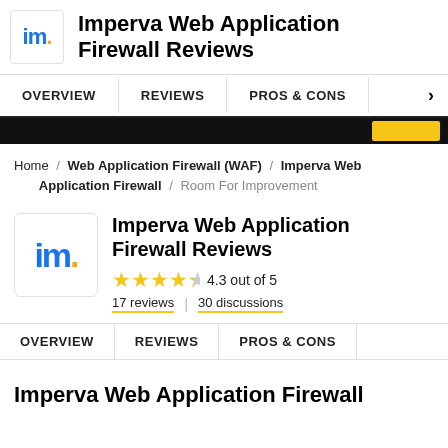Imperva Web Application Firewall Reviews
OVERVIEW | REVIEWS | PROS & CONS
Home / Web Application Firewall (WAF) / Imperva Web Application Firewall / Room For Improvement
Imperva Web Application Firewall Reviews
4.3 out of 5
17 reviews | 30 discussions
OVERVIEW | REVIEWS | PROS & CONS
Imperva Web Application Firewall